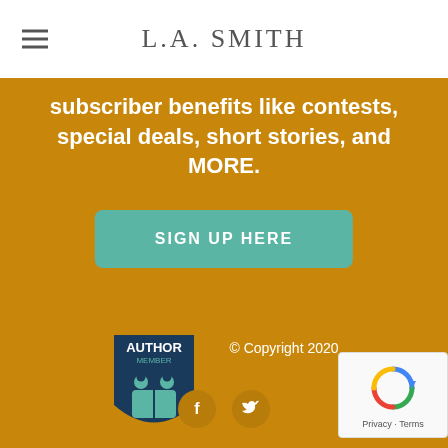L.A. SMITH
subscriber benefits like contests, special deals, short stories, and MORE.
SIGN UP HERE
[Figure (logo): Alliance of Independent Authors Author Member badge – dark teal shield with two figures reading, text AUTHOR MEMBER at top]
Alliance of Independent Authors
© Copyright 2020
[Figure (illustration): Facebook and Twitter social media icons]
[Figure (other): reCAPTCHA badge with Privacy - Terms text]